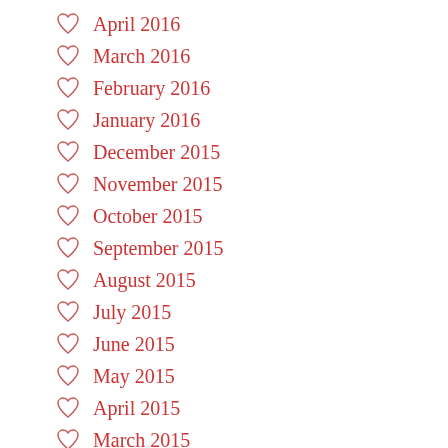April 2016
March 2016
February 2016
January 2016
December 2015
November 2015
October 2015
September 2015
August 2015
July 2015
June 2015
May 2015
April 2015
March 2015
February 2015
December 2014